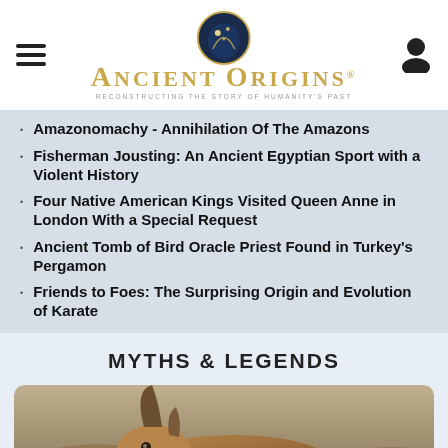Ancient Origins - Reconstructing the story of humanity's past
Amazonomachy - Annihilation Of The Amazons
Fisherman Jousting: An Ancient Egyptian Sport with a Violent History
Four Native American Kings Visited Queen Anne in London With a Special Request
Ancient Tomb of Bird Oracle Priest Found in Turkey's Pergamon
Friends to Foes: The Surprising Origin and Evolution of Karate
MYTHS & LEGENDS
[Figure (photo): A brown horned creature (mythical beast/unicorn-like animal) lying down in a desert landscape]